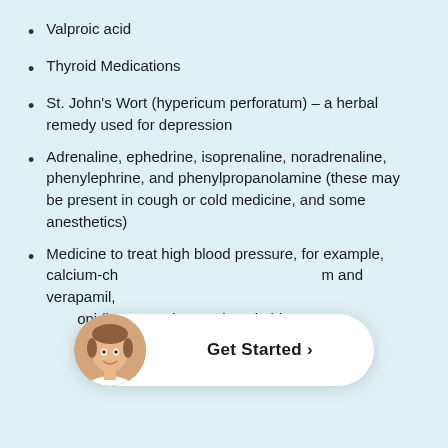Valproic acid
Thyroid Medications
St. John's Wort (hypericum perforatum) – a herbal remedy used for depression
Adrenaline, ephedrine, isoprenaline, noradrenaline, phenylephrine, and phenylpropanolamine (these may be present in cough or cold medicine, and some anesthetics)
Medicine to treat high blood pressure, for example, calcium-ch...m and verapamil,...lonidine reserpine, and methyldopa